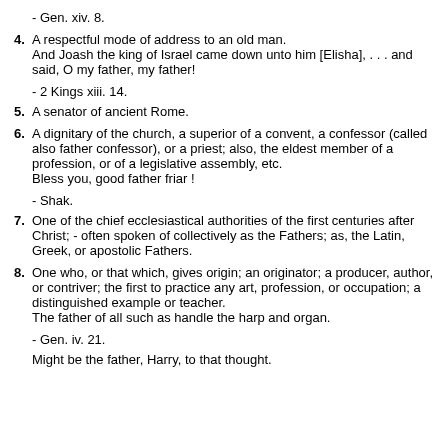- Gen. xiv. 8.
4. A respectful mode of address to an old man.
And Joash the king of Israel came down unto him [Elisha], . . . and said, O my father, my father!
- 2 Kings xiii. 14.
5. A senator of ancient Rome.
6. A dignitary of the church, a superior of a convent, a confessor (called also father confessor), or a priest; also, the eldest member of a profession, or of a legislative assembly, etc.
Bless you, good father friar !
- Shak.
7. One of the chief ecclesiastical authorities of the first centuries after Christ; - often spoken of collectively as the Fathers; as, the Latin, Greek, or apostolic Fathers.
8. One who, or that which, gives origin; an originator; a producer, author, or contriver; the first to practice any art, profession, or occupation; a distinguished example or teacher.
The father of all such as handle the harp and organ.
- Gen. iv. 21.
Might be the father, Harry, to that thought.